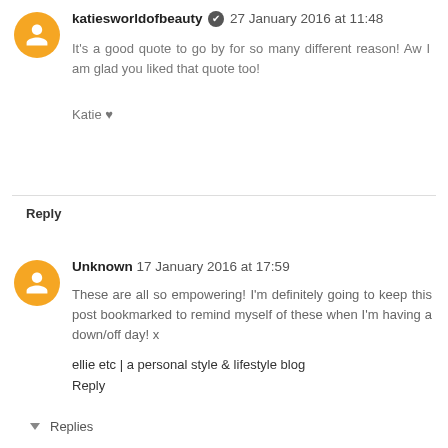katiesworldofbeauty ✔ 27 January 2016 at 11:48
It's a good quote to go by for so many different reason! Aw I am glad you liked that quote too!
Katie ♥
Reply
Unknown 17 January 2016 at 17:59
These are all so empowering! I'm definitely going to keep this post bookmarked to remind myself of these when I'm having a down/off day! x
ellie etc | a personal style & lifestyle blog
Reply
Replies